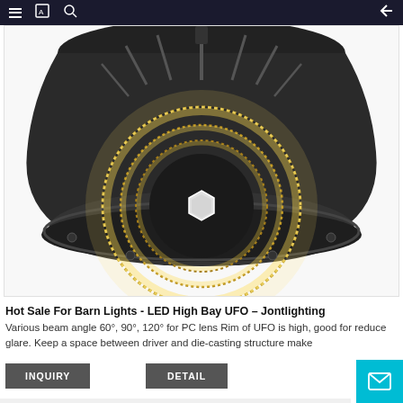≡ [icon] 🔍  ←
[Figure (photo): LED High Bay UFO light fixture viewed from below, showing circular arrangement of LEDs with warm yellow glow and hexagonal center element, dark aluminum housing with fins]
Hot Sale For Barn Lights - LED High Bay UFO – Jontlighting
Various beam angle 60°, 90°, 120° for PC lens Rim of UFO is high, good for reduce glare. Keep a space between driver and die-casting structure make
INQUIRY
DETAIL